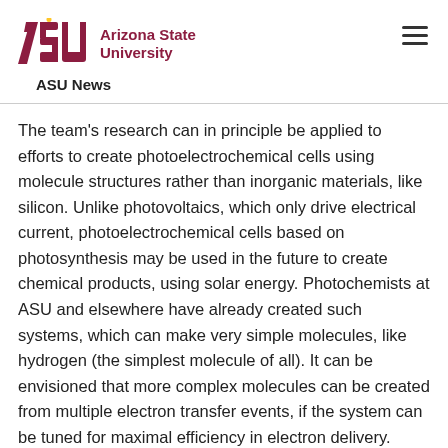Arizona State University — ASU News
The team's research can in principle be applied to efforts to create photoelectrochemical cells using molecule structures rather than inorganic materials, like silicon. Unlike photovoltaics, which only drive electrical current, photoelectrochemical cells based on photosynthesis may be used in the future to create chemical products, using solar energy. Photochemists at ASU and elsewhere have already created such systems, which can make very simple molecules, like hydrogen (the simplest molecule of all). It can be envisioned that more complex molecules can be created from multiple electron transfer events, if the system can be tuned for maximal efficiency in electron delivery.